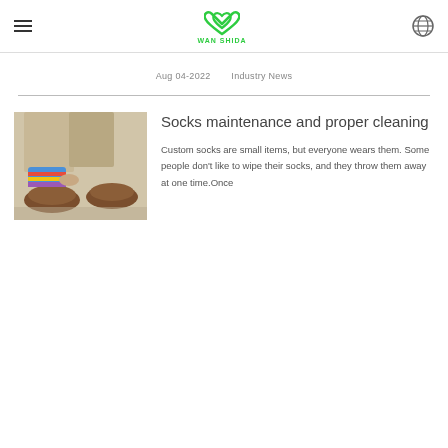WAN SHIDA
Aug 04-2022    Industry News
Socks maintenance and proper cleaning
[Figure (photo): Person putting on colorful striped socks near brown leather shoes on a carpeted floor]
Custom socks are small items, but everyone wears them. Some people don't like to wipe their socks, and they throw them away at one time.Once